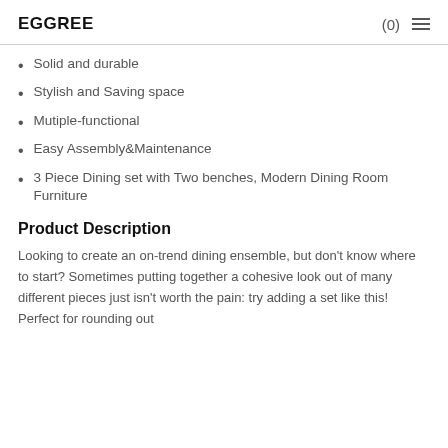EGGREE  (0)  ☰
Solid and durable
Stylish and Saving space
Mutiple-functional
Easy Assembly&Maintenance
3 Piece Dining set with Two benches, Modern Dining Room Furniture
Product Description
Looking to create an on-trend dining ensemble, but don't know where to start? Sometimes putting together a cohesive look out of many different pieces just isn't worth the pain: try adding a set like this! Perfect for rounding out